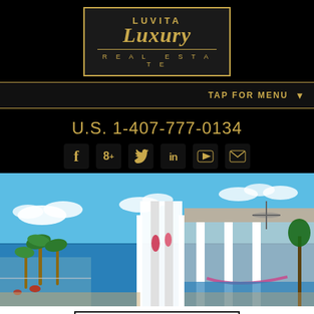[Figure (logo): Luvita Luxury Real Estate logo in gold on black background with gold border]
TAP FOR MENU ▼
U.S. 1-407-777-0134
[Figure (infographic): Social media icons: Facebook, Google+, Twitter, LinkedIn, YouTube, Email]
[Figure (photo): Luxury real estate photo showing modern white architecture with ocean view and tropical landscape]
Request More Info